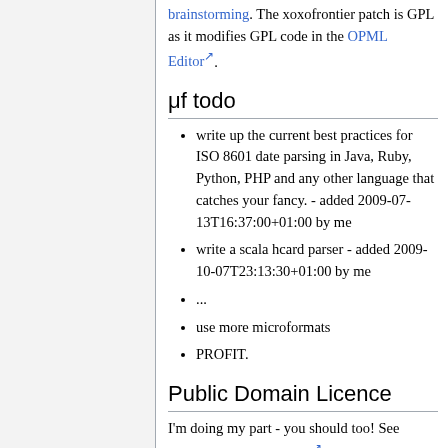brainstorming. The xoxofrontier patch is GPL as it modifies GPL code in the OPML Editor.
μf todo
write up the current best practices for ISO 8601 date parsing in Java, Ruby, Python, PHP and any other language that catches your fancy. - added 2009-07-13T16:37:00+01:00 by me
write a scala hcard parser - added 2009-10-07T23:13:30+01:00 by me
...
use more microformats
PROFIT.
Public Domain Licence
I'm doing my part - you should too! See Tantek's post on the blog and make